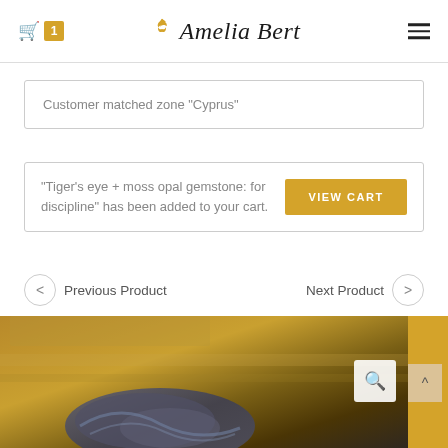Amelia Bert
Customer matched zone "Cyprus"
"Tiger's eye + moss opal gemstone: for discipline" has been added to your cart.
Previous Product
Next Product
[Figure (photo): Close-up photo of a gemstone bracelet or stone with golden and dark tones background]